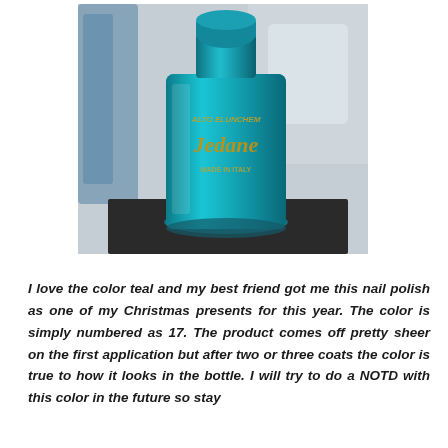[Figure (photo): A teal/turquoise nail polish bottle with gold lettering reading 'Jedane' sitting on a dark surface, with a blurred background.]
I love the color teal and my best friend got me this nail polish as one of my Christmas presents for this year. The color is simply numbered as 17. The product comes off pretty sheer on the first application but after two or three coats the color is true to how it looks in the bottle. I will try to do a NOTD with this color in the future so stay